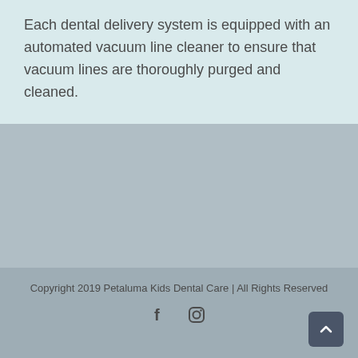Each dental delivery system is equipped with an automated vacuum line cleaner to ensure that vacuum lines are thoroughly purged and cleaned.
Copyright 2019 Petaluma Kids Dental Care | All Rights Reserved